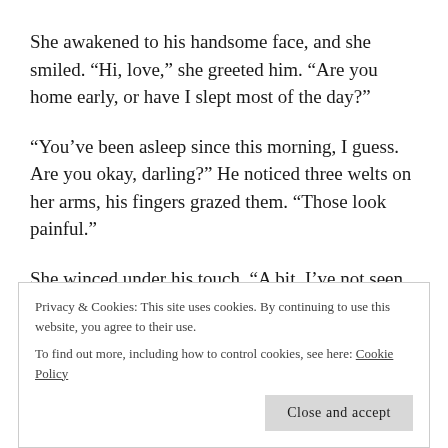She awakened to his handsome face, and she smiled. “Hi, love,” she greeted him. “Are you home early, or have I slept most of the day?”
“You’ve been asleep since this morning, I guess. Are you okay, darling?” He noticed three welts on her arms, his fingers grazed them. “Those look painful.”
She winced under his touch. “A bit. I’ve not seen the bees attack like that, never in the winter. They’re dormant when it’s this cold outside.” She shook her head. “I don’t
Privacy & Cookies: This site uses cookies. By continuing to use this website, you agree to their use.
To find out more, including how to control cookies, see here: Cookie Policy
Close and accept